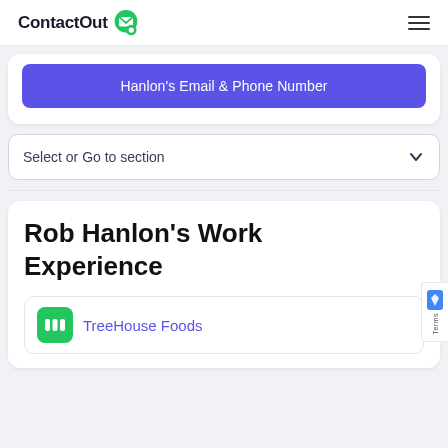ContactOut
Hanlon's Email & Phone Number
Select or Go to section
Rob Hanlon's Work Experience
TreeHouse Foods